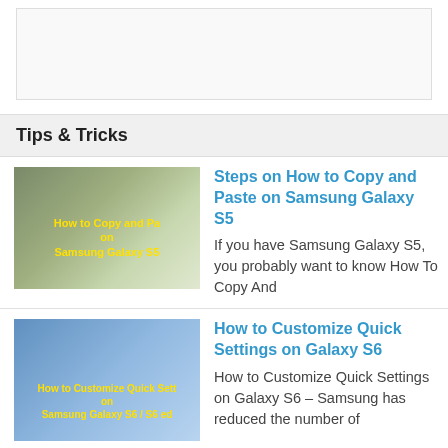[Figure (other): Advertisement banner placeholder]
Tips & Tricks
[Figure (photo): Thumbnail for Samsung Galaxy S5 copy and paste article]
Steps on How to Copy and Paste on Samsung Galaxy S5
If you have Samsung Galaxy S5, you probably want to know How To Copy And
[Figure (photo): Thumbnail for Galaxy S6 Quick Settings article]
How to Customize Quick Settings on Galaxy S6
How to Customize Quick Settings on Galaxy S6 – Samsung has reduced the number of
[Figure (photo): Thumbnail for Samsung Galaxy S6 update apps article]
How to Update Apps on Samsung Galaxy S6 Easily
How To Update Apps On Samsung Galaxy S6 – The biggest draw of using a
[Figure (photo): Thumbnail for Samsung Galaxy factory reset article]
How To Factory Reset Samsung Galaxy